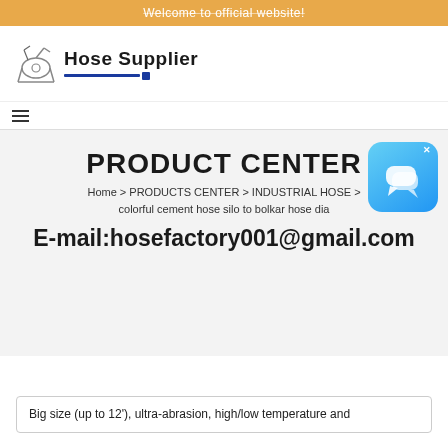Welcome to official website!
[Figure (logo): Hose Supplier logo with hose equipment icon and bold text 'Hose Supplier' with blue underline]
PRODUCT CENTER
Home > PRODUCTS CENTER > INDUSTRIAL HOSE > colorful cement hose silo to bolkar hose dia
E-mail:hosefactory001@gmail.com
[Figure (screenshot): Blue chat widget icon with speech bubbles and an X close button]
Big size (up to 12'), ultra-abrasion, high/low temperature and